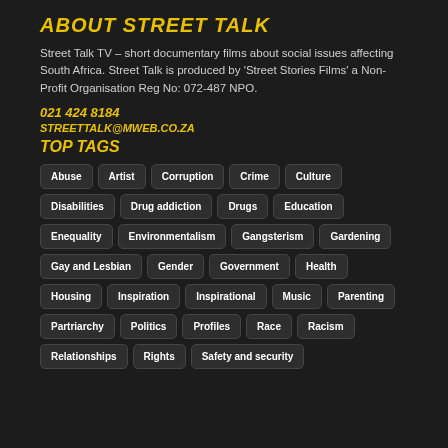ABOUT STREET TALK
Street Talk TV – short documentary films about social issues affecting South Africa. Street Talk is produced by 'Street Stories Films' a Non-Profit Organisation Reg No: 072-487 NPO.
021 424 8184
STREETTALK@MWEB.CO.ZA
TOP TAGS
Abuse
Artist
Corruption
Crime
Culture
Disabilities
Drug addiction
Drugs
Education
Enequality
Environmentalism
Gangsterism
Gardening
Gay and Lesbian
Gender
Government
Health
Housing
Inspiration
Inspirational
Music
Parenting
Partriarchy
Politics
Profiles
Race
Racism
Relationships
Rights
Safety and security